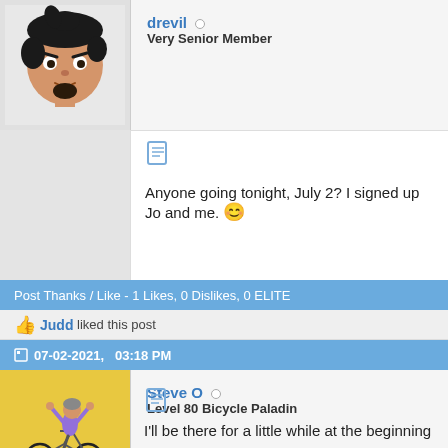[Figure (photo): Avatar of user drevil, a cartoon-style face with dark hair]
drevil ○
Very Senior Member
[Figure (illustration): Document/post icon]
Anyone going tonight, July 2? I signed up Jo and me. 🙂
Post Thanks / Like - 1 Likes, 0 Dislikes, 0 ELITE
🤜 Judd liked this post
07-02-2021,   03:18 PM
[Figure (illustration): Avatar of user Steve O, cartoon cyclist raising arms in victory on yellow background]
Steve O ○
Level 80 Bicycle Paladin
[Figure (illustration): Document/post icon]
I'll be there for a little while at the beginning